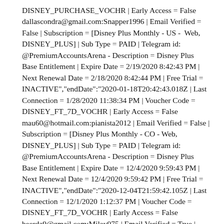DISNEY_PURCHASE_VOCHR | Early Access = False
dallascondra@gmail.com:Snapper1996 | Email Verified = False | Subscription = [Disney Plus Monthly - US -  Web, DISNEY_PLUS] | Sub Type = PAID | Telegram id: @PremiumAccountsArena - Description = Disney Plus Base Entitlement | Expire Date = 2/19/2020 8:42:43 PM | Next Renewal Date = 2/18/2020 8:42:44 PM | Free Trial = INACTIVE","endDate":"2020-01-18T20:42:43.018Z | Last Connection = 1/28/2020 11:38:34 PM | Voucher Code = DISNEY_FT_7D_VOCHR | Early Access = False
mau60@hotmail.com:pianista2012 | Email Verified = False | Subscription = [Disney Plus Monthly - CO - Web, DISNEY_PLUS] | Sub Type = PAID | Telegram id: @PremiumAccountsArena - Description = Disney Plus Base Entitlement | Expire Date = 12/4/2020 9:59:43 PM | Next Renewal Date = 12/4/2020 9:59:42 PM | Free Trial = INACTIVE","endDate":"2020-12-04T21:59:42.105Z | Last Connection = 12/1/2020 1:12:37 PM | Voucher Code = DISNEY_FT_7D_VOCHR | Early Access = False
beerda9@gmail.com:Miley975 | Email Verified = True | Subscription = [Disney Plus Monthly - CAN - Web, DISNEY_PLUS] | Sub Type =